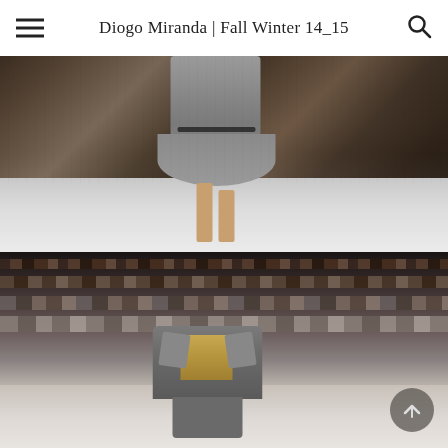Diogo Miranda | Fall Winter 14_15
[Figure (photo): Fashion runway photo showing a model in a grey belted jacket and full flared skirt with heels, walking on a white runway with seated audience on both sides]
[Figure (photo): Fashion show photo showing a model in a grey coat with lapels and gold/metallic top walking a runway with a large crowd of seated and standing audience members behind her]